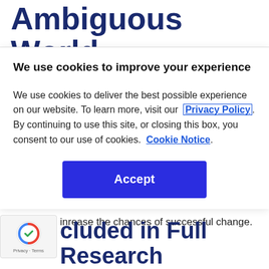Ambiguous World
We use cookies to improve your experience
We use cookies to deliver the best possible experience on our website. To learn more, visit our Privacy Policy. By continuing to use this site, or closing this box, you consent to our use of cookies. Cookie Notice.
Accept
increase the chances of successful change.
included in Full Research